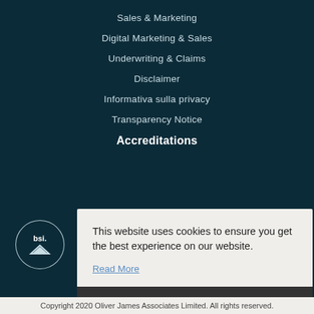Sales & Marketing
Digital Marketing & Sales
Underwriting & Claims
Disclaimer
Informativa sulla privacy
Transparency Notice
Accreditations
[Figure (logo): BSI logo — circular badge with 'bsi' text and downward triangle/diamond mark]
This website uses cookies to ensure you get the best experience on our website. Read More
Got it!
Copyright 2020 Oliver James Associates Limited. All rights reserved.